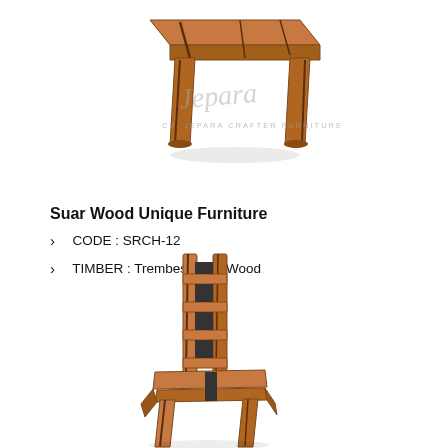[Figure (photo): Wooden stool/side table made from Trembesi Suar Wood, viewed from above-angle, with CV. Jepara Crafter Furniture watermark logo]
Suar Wood Unique Furniture
CODE : SRCH-12
TIMBER : Trembesi Suar Wood
[Figure (photo): Wooden dining chair made from Trembesi Suar Wood with slatted back, natural wood grain visible, no cushion]